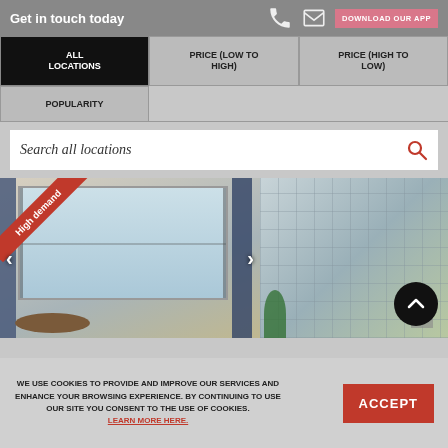Get in touch today
ALL LOCATIONS
PRICE (LOW TO HIGH)
PRICE (HIGH TO LOW)
POPULARITY
Search all locations
[Figure (photo): Interior room photo with curtains and round table, with a red diagonal 'High demand' ribbon in corner and navigation arrows]
[Figure (photo): Office building interior photo with glass facade and plants, with scroll-to-top button overlay]
WE USE COOKIES TO PROVIDE AND IMPROVE OUR SERVICES AND ENHANCE YOUR BROWSING EXPERIENCE. BY CONTINUING TO USE OUR SITE YOU CONSENT TO THE USE OF COOKIES. LEARN MORE HERE.
ACCEPT
DOWNLOAD OUR APP